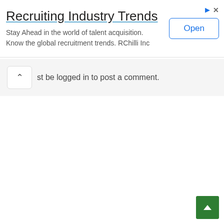[Figure (screenshot): Advertisement banner for 'Recruiting Industry Trends' by RChilli Inc, with an Open button and ad icons]
You must be logged in to post a comment.
[Figure (other): Green scroll-to-top button with upward caret arrow in bottom-right corner]